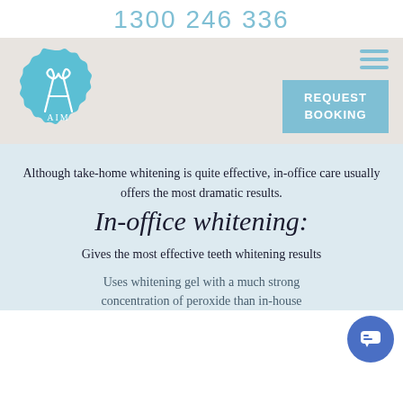1300 246 336
[Figure (logo): AIM dental clinic logo — teal scalloped badge shape with stylized letter A and text AIM]
REQUEST BOOKING
Although take-home whitening is quite effective, in-office care usually offers the most dramatic results.
In-office whitening:
Gives the most effective teeth whitening results
Uses whitening gel with a much strong concentration of peroxide than in-house